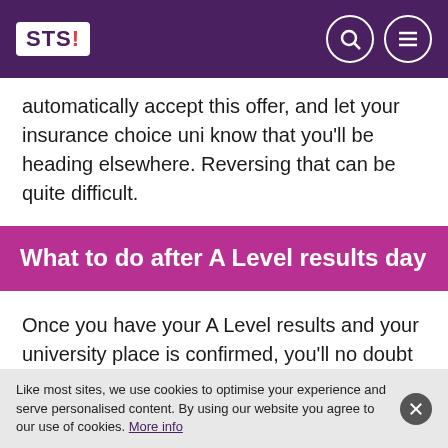STS! [logo with search and menu icons]
automatically accept this offer, and let your insurance choice uni know that you'll be heading elsewhere. Reversing that can be quite difficult.
What to do after A Level results day
Once you have your A Level results and your university place is confirmed, you'll no doubt be thinking ahead to your new life as a student and freshers' week, of course.
Like most sites, we use cookies to optimise your experience and serve personalised content. By using our website you agree to our use of cookies. More info